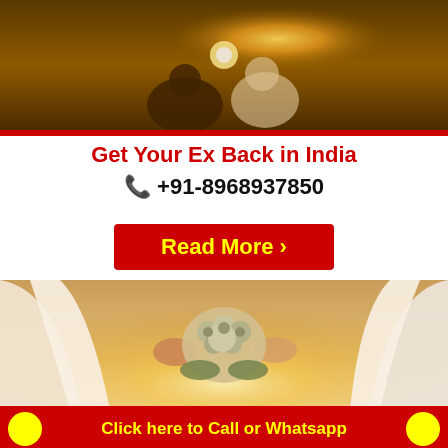[Figure (photo): Two people sitting together outdoors in warm golden light, viewed from behind]
Get Your Ex Back in India
📞 +91-8968937850
Read More ›
[Figure (photo): Bride and groom holding hands, bride holding a bouquet of white and blue flowers, backlit by golden sunset light]
Click here to Call or Whatsapp